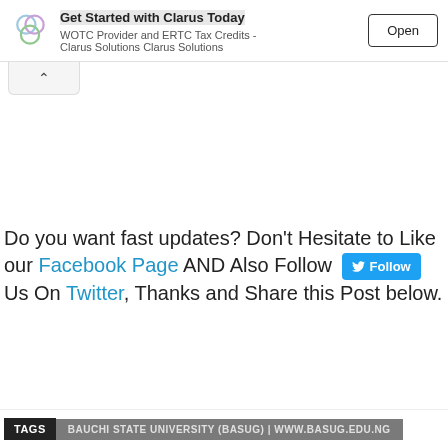[Figure (other): Advertisement banner for Clarus Solutions: logo of overlapping circles, headline 'Get Started with Clarus Today', subtitle 'WOTC Provider and ERTC Tax Credits - Clarus Solutions Clarus Solutions', and an 'Open' button.]
Do you want fast updates? Don't Hesitate to Like our Facebook Page AND Also Follow Us On Twitter, Thanks and Share this Post below.
TAGS   BAUCHI STATE UNIVERSITY (BASUG) | WWW.BASUG.EDU.NG